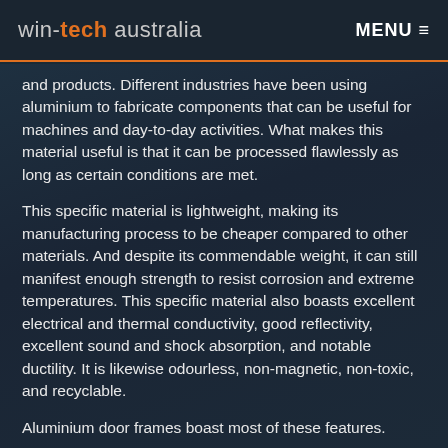win-tech australia | MENU
and products. Different industries have been using aluminium to fabricate components that can be useful for machines and day-to-day activities. What makes this material useful is that it can be processed flawlessly as long as certain conditions are met.
This specific material is lightweight, making its manufacturing process to be cheaper compared to other materials. And despite its commendable weight, it can still manifest enough strength to resist corrosion and extreme temperatures. This specific material also boasts excellent electrical and thermal conductivity, good reflectivity, excellent sound and shock absorption, and notable ductility. It is likewise odourless, non-magnetic, non-toxic, and recyclable.
Aluminium door frames boast most of these features.